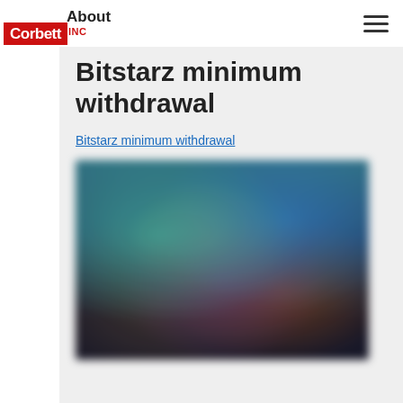About Corbett Inc
Bitstarz minimum withdrawal
Bitstarz minimum withdrawal
[Figure (screenshot): Blurred screenshot of a gaming website (likely Bitstarz casino) showing game thumbnails with characters in a live casino setting with teal/blue backgrounds and various game cards.]